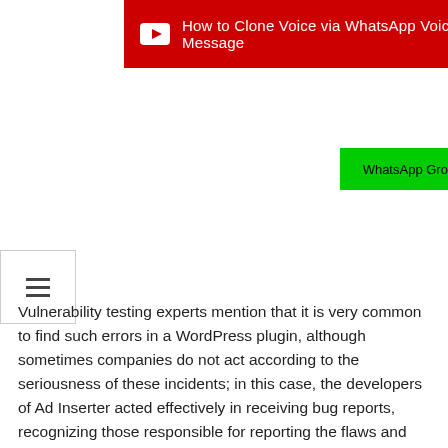[Figure (other): Red YouTube banner with YouTube play button icon and text 'How to Clone Voice via WhatsApp Voice Message']
[Figure (other): Green button labeled 'WhatsApp Group']
[Figure (other): Hamburger menu icon (three horizontal lines) inside a bordered box]
Vulnerability testing experts mention that it is very common to find such errors in a WordPress plugin, although sometimes companies do not act according to the seriousness of these incidents; in this case, the developers of Ad Inserter acted effectively in receiving bug reports, recognizing those responsible for reporting the flaws and correcting them as soon as possible.